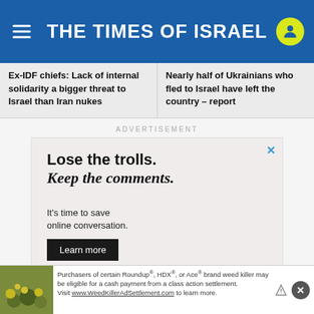THE TIMES OF ISRAEL
Ex-IDF chiefs: Lack of internal solidarity a bigger threat to Israel than Iran nukes
Nearly half of Ukrainians who fled to Israel have left the country – report
ADVERTISEMENT
[Figure (screenshot): Advertisement for OpenWeb: 'Lose the trolls. Keep the comments. It's time to save online conversation. Learn more.' with close button and OpenWeb logo at bottom.]
[Figure (screenshot): Bottom banner advertisement: 'Purchasers of certain Roundup®, HDX®, or Ace® brand weed killer may be eligible for a cash payment from a class action settlement. Visit www.WeedKillerAdSettlement.com to learn more.' with image of weeds and close button.]